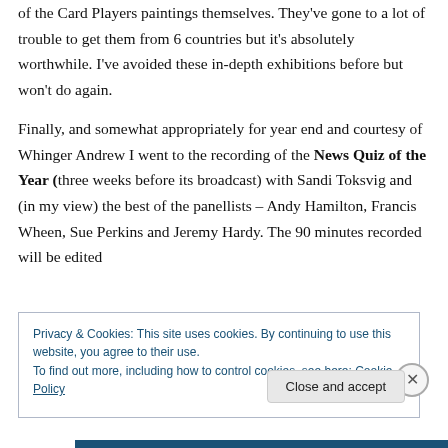of the Card Players paintings themselves. They've gone to a lot of trouble to get them from 6 countries but it's absolutely worthwhile. I've avoided these in-depth exhibitions before but won't do again.
Finally, and somewhat appropriately for year end and courtesy of Whinger Andrew I went to the recording of the News Quiz of the Year (three weeks before its broadcast) with Sandi Toksvig and (in my view) the best of the panellists – Andy Hamilton, Francis Wheen, Sue Perkins and Jeremy Hardy. The 90 minutes recorded will be edited
Privacy & Cookies: This site uses cookies. By continuing to use this website, you agree to their use.
To find out more, including how to control cookies, see here: Cookie Policy
Close and accept